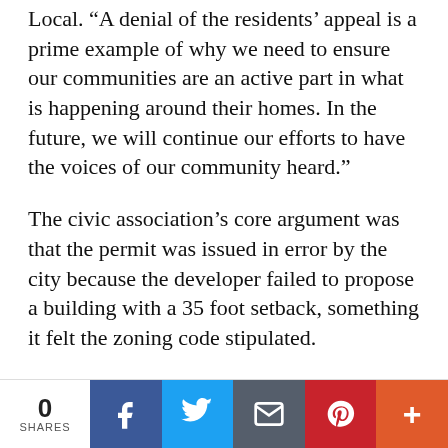Local. “A denial of the residents’ appeal is a prime example of why we need to ensure our communities are an active part in what is happening around their homes. In the future, we will continue our efforts to have the voices of our community heard.”
The civic association’s core argument was that the permit was issued in error by the city because the developer failed to propose a building with a 35 foot setback, something it felt the zoning code stipulated.
A developer on the civic’s legal team, Josh Horvitz, cited part of the city code that read the following: “Where any block frontage on one side of a street is divided into two or more districts, no structure shall be erected nearer to the street line than is permitted under the regulations for the district that covers the
0 SHARES | Facebook | Twitter | Email | Pinterest | More